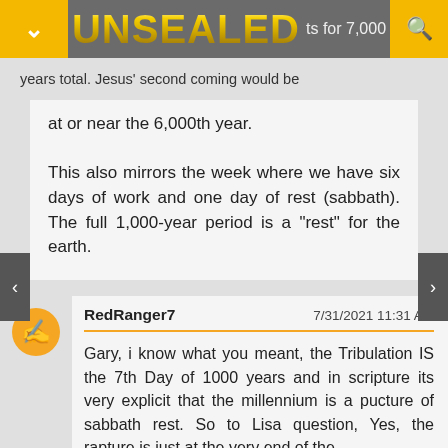UNSEALED — ...ts for 7,000 years total. Jesus' second coming would be
at or near the 6,000th year.

This also mirrors the week where we have six days of work and one day of rest (sabbath). The full 1,000-year period is a "rest" for the earth.
RedRanger7   7/31/2021 11:31 AM

Gary, i know what you meant, the Tribulation IS the 7th Day of 1000 years and in scripture its very explicit that the millennium is a pucture of sabbath rest. So to Lisa question, Yes, the rapture is just at the very end of the 6000...